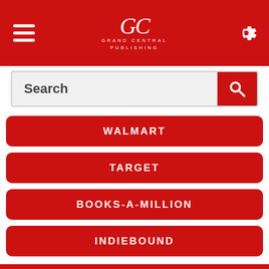[Figure (logo): Grand Central Publishing logo with monogram and text, on red header bar with hamburger menu and gear icon]
Search
WALMART
TARGET
BOOKS-A-MILLION
INDIEBOUND
KINDLE
NOOK
APPLE BOOKS
GOOGLE PLAY